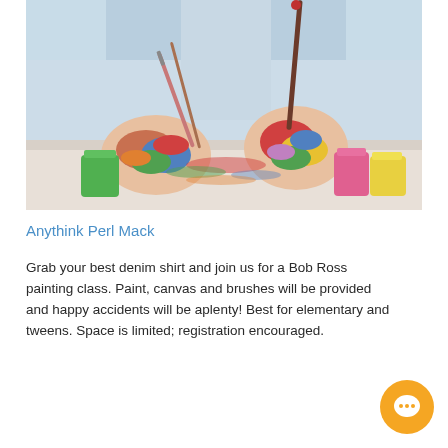[Figure (photo): Close-up photo of two hands covered in colorful paint, holding paintbrushes, with small paint cups visible on a white surface. Person wearing a light blue denim shirt in the background.]
Anythink Perl Mack
Grab your best denim shirt and join us for a Bob Ross painting class. Paint, canvas and brushes will be provided and happy accidents will be aplenty! Best for elementary and tweens. Space is limited; registration encouraged.